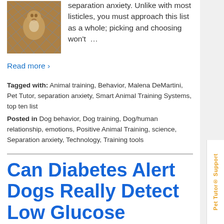[Figure (photo): Dog behind chain-link fence]
separation anxiety. Unlike with most listicles, you must approach this list as a whole; picking and choosing won't …
Read more ›
Tagged with: Animal training, Behavior, Malena DeMartini, Pet Tutor, separation anxiety, Smart Animal Training Systems, top ten list
Posted in Dog behavior, Dog training, Dog/human relationship, emotions, Positive Animal Training, science, Separation anxiety, Technology, Training tools
Can Diabetes Alert Dogs Really Detect Low Glucose Levels?